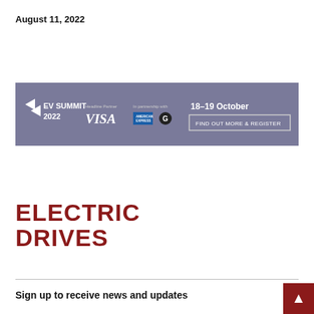August 11, 2022
[Figure (infographic): EV Summit 2022 banner ad. Dark grey-purple background showing EV Summit 2022 logo with triangular arrows, Headline Partner VISA logo, In partnership with American Express and Google logos, date 18-19 October, and a button: FIND OUT MORE & REGISTER]
ELECTRIC DRIVES
Sign up to receive news and updates